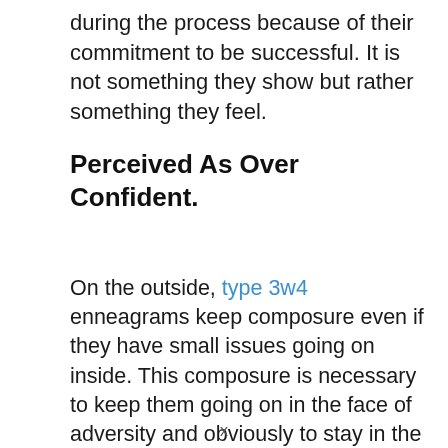during the process because of their commitment to be successful. It is not something they show but rather something they feel.
Perceived As Over Confident.
On the outside, type 3w4 enneagrams keep composure even if they have small issues going on inside. This composure is necessary to keep them going on in the face of adversity and obviously to stay in the game; it is important to make others feel you know
x